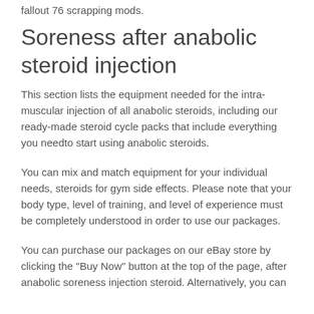fallout 76 scrapping mods.
Soreness after anabolic steroid injection
This section lists the equipment needed for the intra-muscular injection of all anabolic steroids, including our ready-made steroid cycle packs that include everything you needto start using anabolic steroids.
You can mix and match equipment for your individual needs, steroids for gym side effects. Please note that your body type, level of training, and level of experience must be completely understood in order to use our packages.
You can purchase our packages on our eBay store by clicking the "Buy Now" button at the top of the page, after anabolic soreness injection steroid. Alternatively, you can